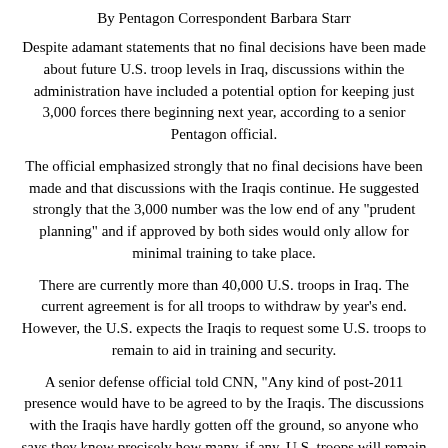By Pentagon Correspondent Barbara Starr
Despite adamant statements that no final decisions have been made about future U.S. troop levels in Iraq, discussions within the administration have included a potential option for keeping just 3,000 forces there beginning next year, according to a senior Pentagon official.
The official emphasized strongly that no final decisions have been made and that discussions with the Iraqis continue. He suggested strongly that the 3,000 number was the low end of any "prudent planning" and if approved by both sides would only allow for minimal training to take place.
There are currently more than 40,000 U.S. troops in Iraq. The current agreement is for all troops to withdraw by year's end. However, the U.S. expects the Iraqis to request some U.S. troops to remain to aid in training and security.
A senior defense official told CNN, "Any kind of post-2011 presence would have to be agreed to by the Iraqis. The discussions with the Iraqis have hardly gotten off the ground, so anyone who says they know precisely how many, if any, U.S. troops will remain in Iraq beyond the end of the year is speculating."